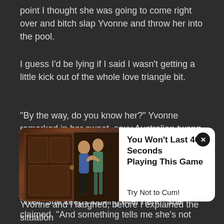point I thought she was going to come right over and bitch slap Yvonne and throw her into the pool.
I guess I'd be lying if I said I wasn't getting a little kick out of the whole love triangle bit.
“By the way, do you know her?” Yvonne remarked in her sweet, sexy Australian twang.
“Yeah. Why?”
“Well. She keeps looking over here.” she claimed. “And something tells me she’s not particularly interested in
[Figure (other): Advertisement overlay showing a couple, with text 'You Won't Last 40 Seconds Playing This Game' and 'Try Not to Cum!' with a close button]
Yvonne and I laughed, before I explained the situation